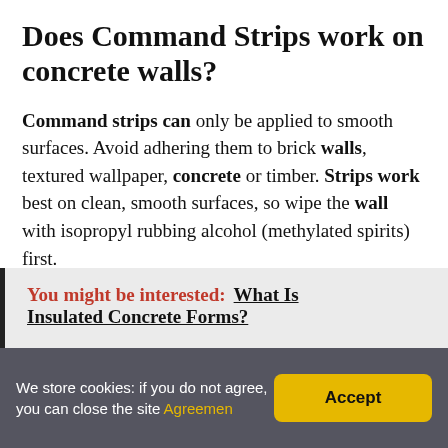Does Command Strips work on concrete walls?
Command strips can only be applied to smooth surfaces. Avoid adhering them to brick walls, textured wallpaper, concrete or timber. Strips work best on clean, smooth surfaces, so wipe the wall with isopropyl rubbing alcohol (methylated spirits) first.
You might be interested: What Is Insulated Concrete Forms?
We store cookies: if you do not agree, you can close the site Agreemen